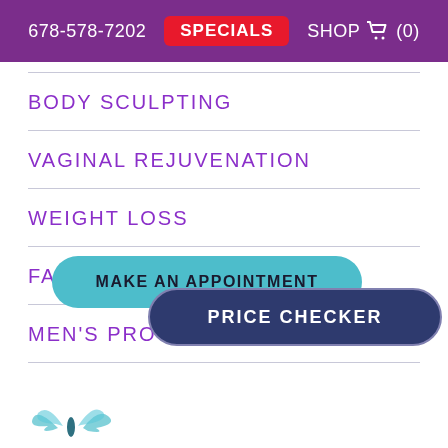678-578-7202   SPECIALS   SHOP (0)
BODY SCULPTING
VAGINAL REJUVENATION
WEIGHT LOSS
FACIAL SURGERY
MEN'S PROCEDURES
MAKE AN APPOINTMENT
PRICE CHECKER